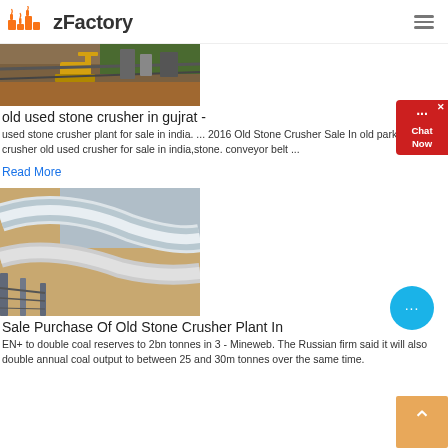zFactory
[Figure (photo): Aerial/ground view of a mining site with yellow excavator and conveyor belts on reddish earth]
old used stone crusher in gujrat -
used stone crusher plant for sale in india. ... 2016 Old Stone Crusher Sale In old parker stone crusher old used crusher for sale in india,stone. conveyor belt ...
Read More
[Figure (photo): Aerial view of large curved conveyor belt structure, white and metallic, over a quarry or industrial site]
Sale Purchase Of Old Stone Crusher Plant In
EN+ to double coal reserves to 2bn tonnes in 3 - Mineweb. The Russian firm said it will also double annual coal output to between 25 and 30m tonnes over the same time.